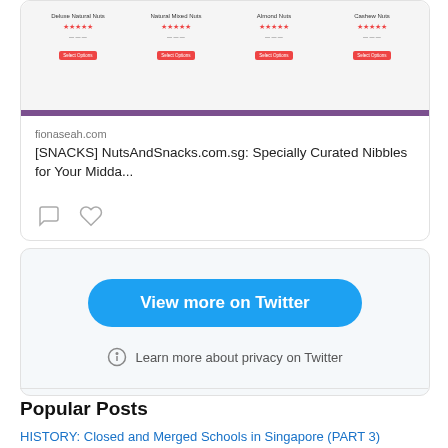[Figure (screenshot): Screenshot of NutsAndSnacks.com.sg product listing showing Deluxe Natural Nuts, Natural Mixed Nuts, Almond Nuts, and Cashew Nuts with star ratings, prices, and Select Options buttons. A purple bar runs across the bottom.]
fionaseah.com
[SNACKS] NutsAndSnacks.com.sg: Specially Curated Nibbles for Your Midda...
[Figure (screenshot): Twitter embedded widget with View more on Twitter button and Learn more about privacy on Twitter link]
View more on Twitter
Learn more about privacy on Twitter
Popular Posts
HISTORY: Closed and Merged Schools in Singapore (PART 3)
REVIEW: Daeng Gi Meo Ri Vitalizing Series (Shampoo + Scalp